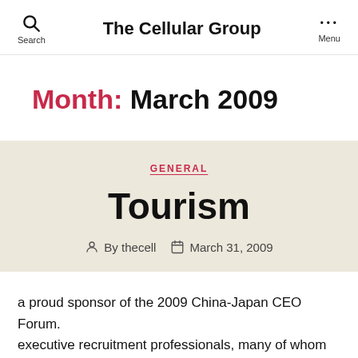The Cellular Group
Month: March 2009
GENERAL
Tourism
By thecell   March 31, 2009
a proud sponsor of the 2009 China-Japan CEO Forum. executive recruitment professionals, many of whom joined our firm from senior positions in the industry